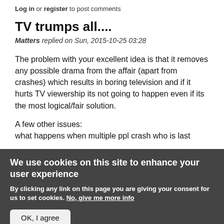Log in or register to post comments
TV trumps all....
Matters replied on Sun, 2015-10-25 03:28
The problem with your excellent idea is that it removes any possible drama from the affair (apart from crashes) which results in boring television and if it hurts TV viewership its not going to happen even if its the most logical/fair solution.
A few other issues:
what happens when multiple ppl crash who is last
We use cookies on this site to enhance your user experience
By clicking any link on this page you are giving your consent for us to set cookies. No, give me more info
OK, I agree